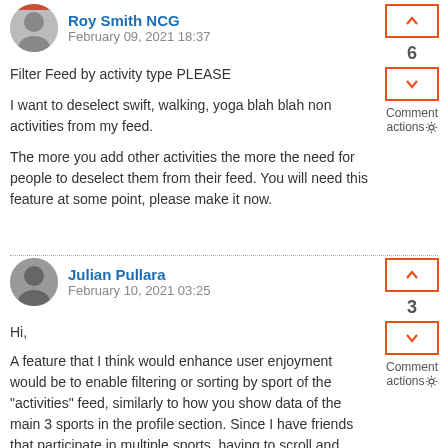Roy Smith NCG
February 09, 2021 18:37
Filter Feed by activity type PLEASE
I want to deselect swift, walking, yoga blah blah non activities from my feed.
The more you add other activities the more the need for people to deselect them from their feed. You will need this feature at some point, please make it now.
6
Comment actions
Julian Pullara
February 10, 2021 03:25
Hi,
A feature that I think would enhance user enjoyment would be to enable filtering or sorting by sport of the "activities" feed, similarly to how you show data of the main 3 sports in the profile section. Since I have friends that participate in multiple sports, having to scroll and scroll to find their last run (or even my own) can be bothersome. Last week, I for one ran, biked indoors, cross country skied and did
3
Comment actions